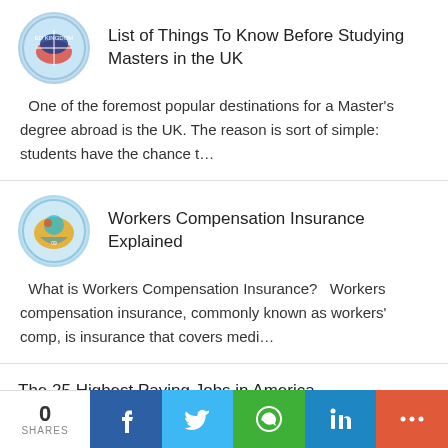List of Things To Know Before Studying Masters in the UK
One of the foremost popular destinations for a Master's degree abroad is the UK. The reason is sort of simple: students have the chance t…
Workers Compensation Insurance Explained
What is Workers Compensation Insurance?  Workers compensation insurance, commonly known as workers' comp, is insurance that covers medi…
The 25 Highest Paying Jobs in America
0 SHARES  f  t  (whatsapp)  in  +